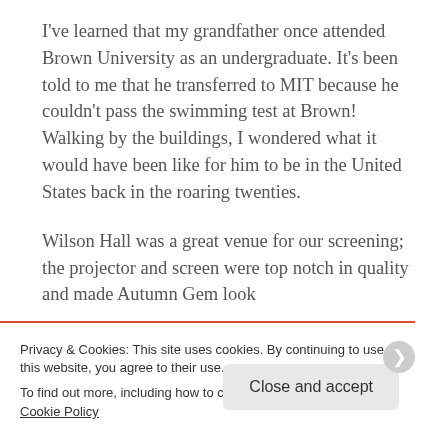I've learned that my grandfather once attended Brown University as an undergraduate. It's been told to me that he transferred to MIT because he couldn't pass the swimming test at Brown! Walking by the buildings, I wondered what it would have been like for him to be in the United States back in the roaring twenties.
Wilson Hall was a great venue for our screening; the projector and screen were top notch in quality and made Autumn Gem look
Privacy & Cookies: This site uses cookies. By continuing to use this website, you agree to their use.
To find out more, including how to control cookies, see here: Cookie Policy